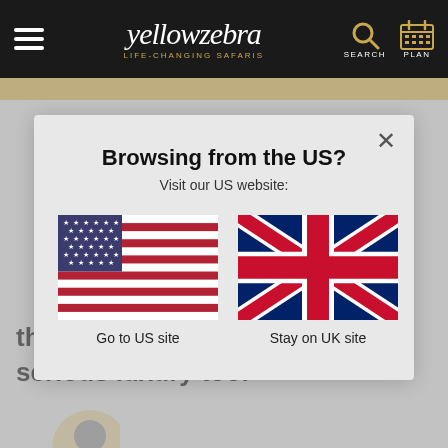[Figure (screenshot): Yellow Zebra safaris navigation bar with hamburger menu, logo, search and plan icons on dark background]
[Figure (infographic): Modal dialog: Browsing from the US? Visit our US website: with US flag (Go to US site) and UK flag (Stay on UK site) options, with close X button]
the Mara, and some pretty serious luxury too."